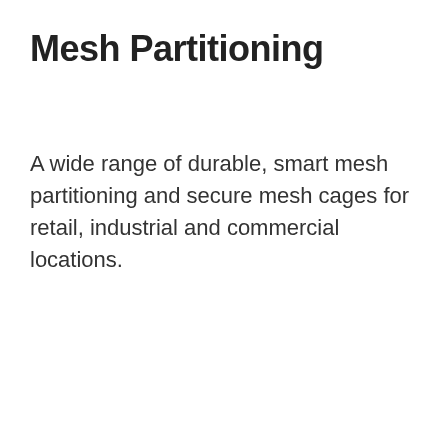Mesh Partitioning
A wide range of durable, smart mesh partitioning and secure mesh cages for retail, industrial and commercial locations.